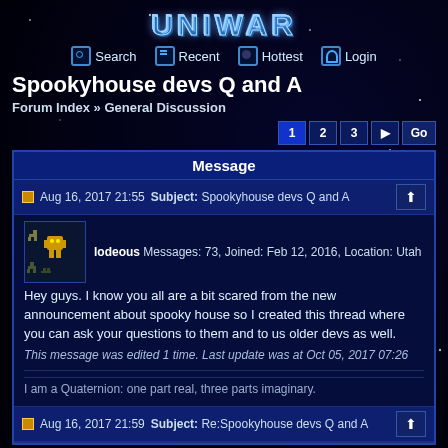UNIWAR
Search  Recent  Hottest  Login
Spookyhouse devs Q and A
Forum Index » General Discussion
1  2  3  ▶  Go
| Message |
| --- |
| Aug 16, 2017 21:55
Subject: Spookyhouse devs Q and A
lodeous  Messages: 73, Joined: Feb 12, 2016, Location: Utah
Hey guys. I know you all are a bit scared from the new announcement about spooky house so I created this thread where you can ask your questions to them and to us older devs as well.
This message was edited 1 time. Last update was at Oct 05, 2017 07:26
I am a Quaternion: one part real, three parts imaginary. |
| Aug 16, 2017 21:59
Subject: Re:Spookyhouse devs Q and A |